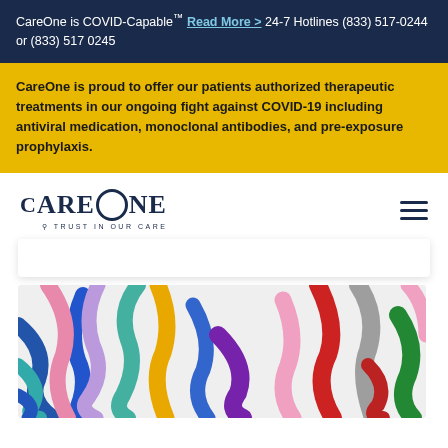CareOne is COVID-Capable™ Read More > 24-7 Hotlines (833) 517-0244 or (833) 517 0245
CareOne is proud to offer our patients authorized therapeutic treatments in our ongoing fight against COVID-19 including antiviral medication, monoclonal antibodies, and pre-exposure prophylaxis.
[Figure (logo): CareOne logo with text 'CARE ONE' in serif font and tagline 'TRUST IN OUR CARE']
[Figure (photo): Colorful awareness ribbons in various colors including pink, blue, purple, yellow, green, red, teal scattered on a white surface]